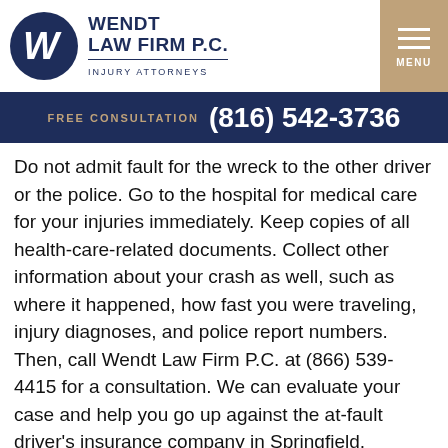WENDT LAW FIRM P.C. INJURY ATTORNEYS
FREE CONSULTATION (816) 542-3736
Do not admit fault for the wreck to the other driver or the police. Go to the hospital for medical care for your injuries immediately. Keep copies of all health-care-related documents. Collect other information about your crash as well, such as where it happened, how fast you were traveling, injury diagnoses, and police report numbers. Then, call Wendt Law Firm P.C. at (866) 539-4415 for a consultation. We can evaluate your case and help you go up against the at-fault driver's insurance company in Springfield, Missouri.